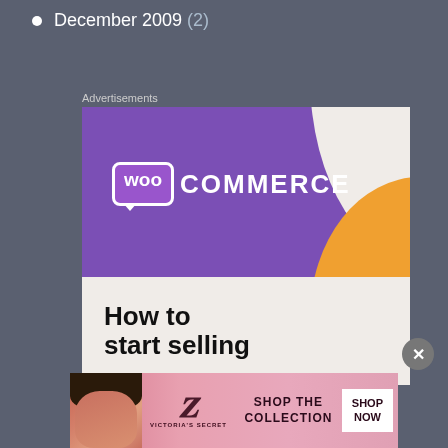December 2009 (2)
Advertisements
[Figure (illustration): WooCommerce advertisement showing purple background with WooCommerce logo and text 'How to start selling']
[Figure (illustration): Victoria's Secret banner advertisement with model, VS logo, 'SHOP THE COLLECTION' text and 'SHOP NOW' button]